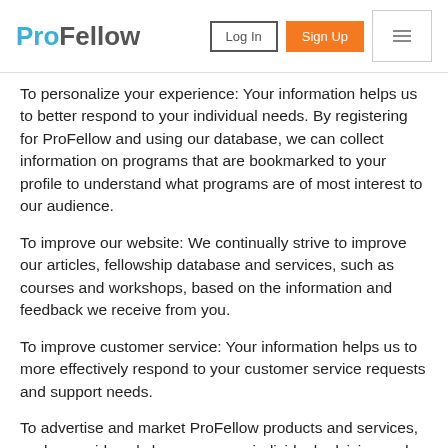ProFellow | Log In | Sign Up
To personalize your experience: Your information helps us to better respond to your individual needs. By registering for ProFellow and using our database, we can collect information on programs that are bookmarked to your profile to understand what programs are of most interest to our audience.
To improve our website: We continually strive to improve our articles, fellowship database and services, such as courses and workshops, based on the information and feedback we receive from you.
To improve customer service: Your information helps us to more effectively respond to your customer service requests and support needs.
To advertise and market ProFellow products and services, such as paid workshops, courses individual advising and materials, including through email.
To advertise open calls for applications from third-party fellowship